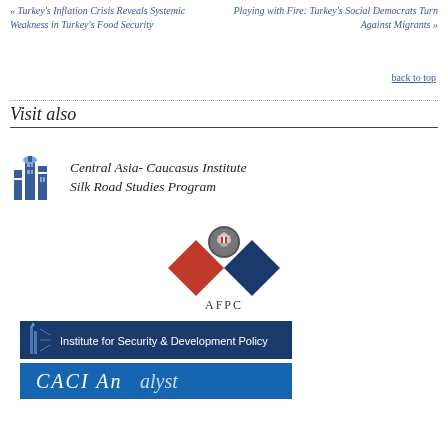« Turkey's Inflation Crisis Reveals Systemic Weakness in Turkey's Food Security
Playing with Fire: Turkey's Social Democrats Turn Against Migrants »
back to top
Visit also
[Figure (logo): Central Asia-Caucasus Institute Silk Road Studies Program logo with building icon]
[Figure (logo): AFPC logo with two diamond shapes (red and dark blue) and an eagle emblem]
[Figure (logo): Institute for Security & Development Policy logo on dark blue background]
[Figure (logo): CACI Analyst logo partial view on blue background]